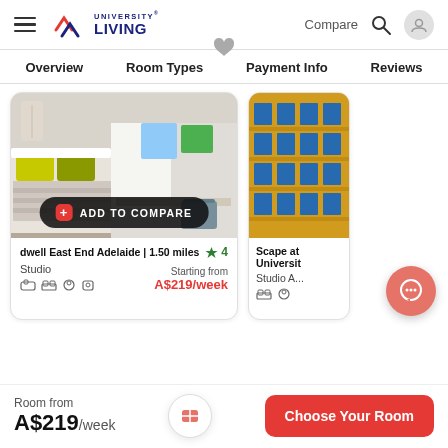University Living — Compare, Search, User
Overview   Room Types   Payment Info   Reviews
[Figure (screenshot): Photo of a student studio room with bed, yellow/green pillows, and desk area. 'ADD TO COMPARE' button overlaid at bottom.]
dwell East End Adelaide | 1.50 miles  ★ 4
Studio   Starting from A$219/week
[Figure (photo): Partial photo of an ornate yellow building exterior (Scape at Universit...)]
Scape at Universit...
Studio ...ts
Room from  A$219/week
Choose Your Room